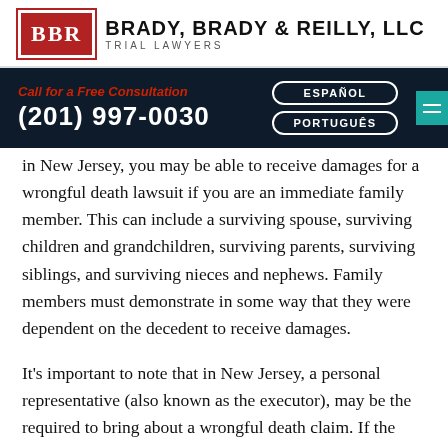BRADY, BRADY & REILLY, LLC — TRIAL LAWYERS
Call for a Free Consultation
(201) 997-0030
ESPAÑOL
PORTUGUÊS
in New Jersey, you may be able to receive damages for a wrongful death lawsuit if you are an immediate family member. This can include a surviving spouse, surviving children and grandchildren, surviving parents, surviving siblings, and surviving nieces and nephews. Family members must demonstrate in some way that they were dependent on the decedent to receive damages.
It's important to note that in New Jersey, a personal representative (also known as the executor), may be the required to bring about a wrongful death claim. If the decedent passed without identifying a personal